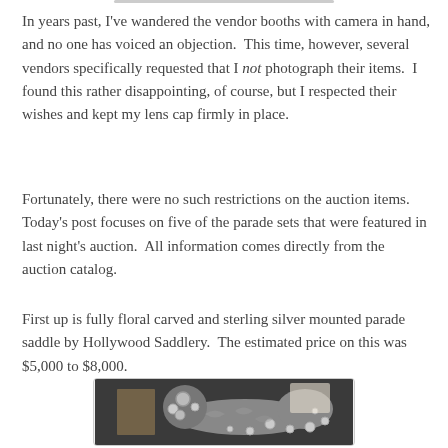In years past, I've wandered the vendor booths with camera in hand, and no one has voiced an objection.  This time, however, several vendors specifically requested that I not photograph their items.  I found this rather disappointing, of course, but I respected their wishes and kept my lens cap firmly in place.
Fortunately, there were no such restrictions on the auction items.  Today's post focuses on five of the parade sets that were featured in last night's auction.  All information comes directly from the auction catalog.
First up is fully floral carved and sterling silver mounted parade saddle by Hollywood Saddlery.  The estimated price on this was $5,000 to $8,000.
[Figure (photo): Photo of a fully floral carved and sterling silver mounted parade saddle by Hollywood Saddlery, displayed on a dark background. The saddle features ornate silver conchos and floral carving throughout.]